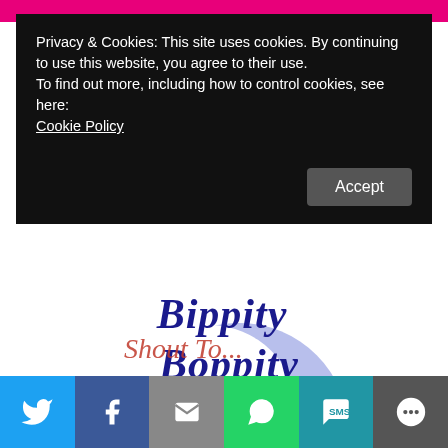Privacy & Cookies: This site uses cookies. By continuing to use this website, you agree to their use.
To find out more, including how to control cookies, see here:
Cookie Policy
[Figure (logo): Bippity Boppity Book logo — stylized text with a fairy silhouette sitting on a crescent moon]
Share buttons: Twitter, Facebook, Email, WhatsApp, SMS, More